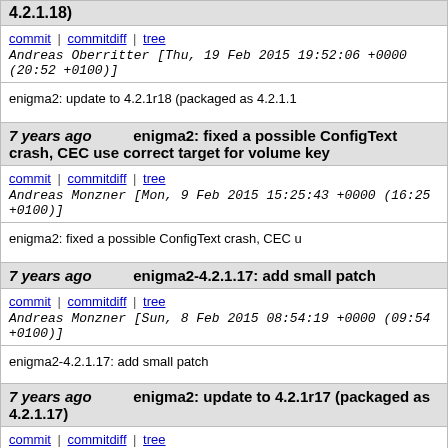4.2.1.18)
commit | commitdiff | tree   Andreas Oberritter [Thu, 19 Feb 2015 19:52:06 +0000 (20:52 +0100)]
enigma2: update to 4.2.1r18 (packaged as 4.2.1.1
7 years ago   enigma2: fixed a possible ConfigText crash, CEC use correct target for volume key
commit | commitdiff | tree   Andreas Monzner [Mon, 9 Feb 2015 15:25:43 +0000 (16:25 +0100)]
enigma2: fixed a possible ConfigText crash, CEC u
7 years ago   enigma2-4.2.1.17: add small patch
commit | commitdiff | tree   Andreas Monzner [Sun, 8 Feb 2015 08:54:19 +0000 (09:54 +0100)]
enigma2-4.2.1.17: add small patch
7 years ago   enigma2: update to 4.2.1r17 (packaged as 4.2.1.17)
commit | commitdiff | tree   Andreas Oberritter [Sat, 7 Feb 2015 14:07:07 +0000 (15:07 +0100)]
enigma2: update to 4.2.1r17 (packaged as 4.2.1.1